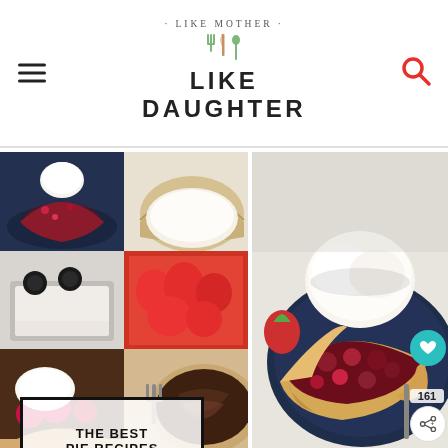LIKE MOTHER · LIKE DAUGHTER · logo with utensils
[Figure (photo): Collage of six pie photos: mixed berry pie slice on dark plate, cream pie on white plate, Oreo/chocolate pie slice, strawberry pie slice, raspberry pie with whipped cream, chocolate swirl pie]
THE BEST PIE RECIPES

OVER 45+ PIE RECIPES!

ON LMLD.ORG
[Figure (photo): Main large photo of a mixed berry pie slice topped with a scoop of vanilla ice cream, served on a dark blue plate with strawberries in background]
161
Mixed Be...
WHAT'S NEXT → Candy Bar Cookies